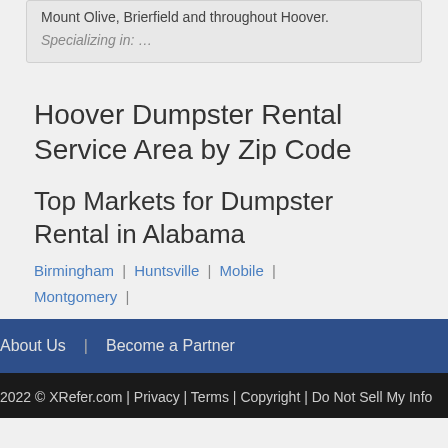Mount Olive, Brierfield and throughout Hoover.
Specializing in: …
Hoover Dumpster Rental Service Area by Zip Code
Top Markets for Dumpster Rental in Alabama
Birmingham | Huntsville | Mobile | Montgomery |
About Us  |   Become a Partner
2022 © XRefer.com | Privacy | Terms | Copyright | Do Not Sell My Info